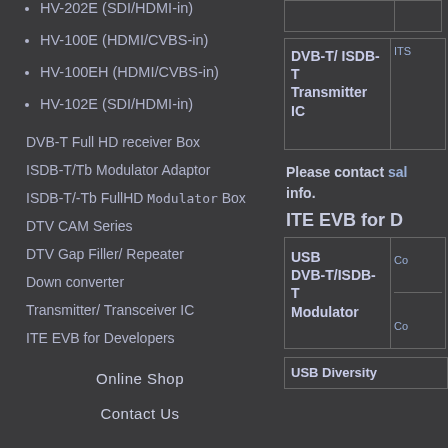HV-202E (SDI/HDMI-in)
HV-100E (HDMI/CVBS-in)
HV-100EH (HDMI/CVBS-in)
HV-102E (SDI/HDMI-in)
DVB-T Full HD receiver Box
ISDB-T/Tb Modulator Adaptor
ISDB-T/-Tb FullHD Modulator Box
DTV CAM Series
DTV Gap Filler/ Repeater
Down converter
Transmitter/ Transceiver IC
ITE EVB for Developers
Online Shop
Contact Us
[Figure (other): DVB-T/ ISDB-T Transmitter IC product box with right column link area (ITS...)]
Please contact sal... info.
ITE EVB for D...
[Figure (other): USB DVB-T/ISDB-T Modulator product box with right column links (Co...)]
[Figure (other): USB Diversity product box (partial)]